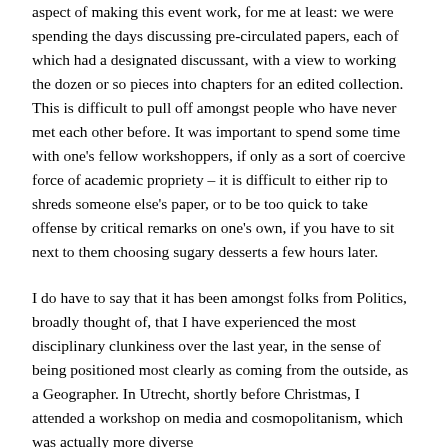aspect of making this event work, for me at least: we were spending the days discussing pre-circulated papers, each of which had a designated discussant, with a view to working the dozen or so pieces into chapters for an edited collection. This is difficult to pull off amongst people who have never met each other before. It was important to spend some time with one's fellow workshoppers, if only as a sort of coercive force of academic propriety – it is difficult to either rip to shreds someone else's paper, or to be too quick to take offense by critical remarks on one's own, if you have to sit next to them choosing sugary desserts a few hours later.
I do have to say that it has been amongst folks from Politics, broadly thought of, that I have experienced the most disciplinary clunkiness over the last year, in the sense of being positioned most clearly as coming from the outside, as a Geographer. In Utrecht, shortly before Christmas, I attended a workshop on media and cosmopolitanism, which was actually more diverse